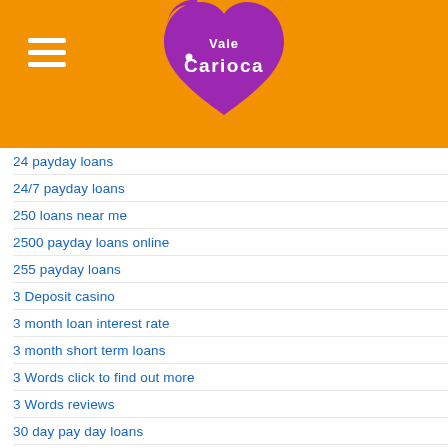[Figure (logo): Vale Carioca logo — a purple heart shape with white cursive text reading 'Vale Carioca', on an orange background with a hamburger menu icon on the left]
24 payday loans
24/7 payday loans
250 loans near me
2500 payday loans online
255 payday loans
3 Deposit casino
3 month loan interest rate
3 month short term loans
3 Words click to find out more
3 Words reviews
30 day pay day loans
30 day payday loan
30 day payday loans